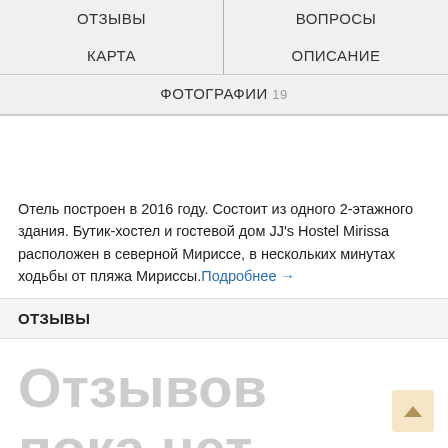ОТЗЫВЫ | ВОПРОСЫ | КАРТА | ОПИСАНИЕ | ФОТОГРАФИИ 19
Отель построен в 2016 году. Состоит из одного 2-этажного здания. Бутик-хостел и гостевой дом JJ's Hostel Mirissa расположен в северной Мириссе, в нескольких минутах ходьбы от пляжа Мириссы.Подробнее →
ОТЗЫВЫ
Отзывов пока нет